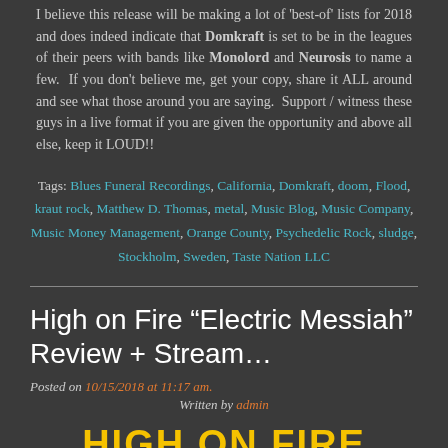I believe this release will be making a lot of 'best-of' lists for 2018 and does indeed indicate that Domkraft is set to be in the leagues of their peers with bands like Monolord and Neurosis to name a few.  If you don't believe me, get your copy, share it ALL around and see what those around you are saying.  Support / witness these guys in a live format if you are given the opportunity and above all else, keep it LOUD!!
Tags: Blues Funeral Recordings, California, Domkraft, doom, Flood, kraut rock, Matthew D. Thomas, metal, Music Blog, Music Company, Music Money Management, Orange County, Psychedelic Rock, sludge, Stockholm, Sweden, Taste Nation LLC
High on Fire “Electric Messiah” Review + Stream…
Posted on 10/15/2018 at 11:17 am.
Written by admin
HIGH ON FIRE